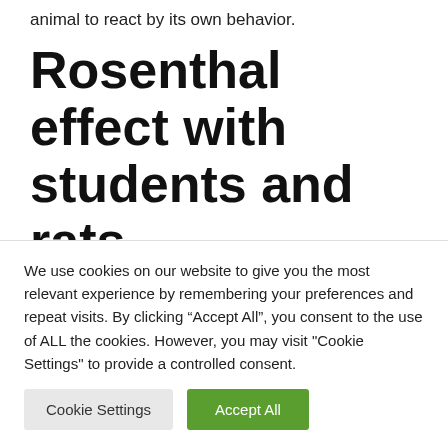animal to react by its own behavior.
Rosenthal effect with students and rats
Robert Rosenthal tried to prove this in 1963. His experiment with students and rats is known as the Rosenthal effect. Today...
We use cookies on our website to give you the most relevant experience by remembering your preferences and repeat visits. By clicking “Accept All”, you consent to the use of ALL the cookies. However, you may visit "Cookie Settings" to provide a controlled consent.